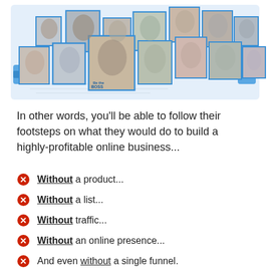[Figure (photo): Collage of headshot photos of various people arranged in two rows with blue frames and pipe graphics on a light blue blueprint-style background]
In other words, you'll be able to follow their footsteps on what they would do to build a highly-profitable online business...
Without a product...
Without a list...
Without traffic...
Without an online presence...
And even without a single funnel.